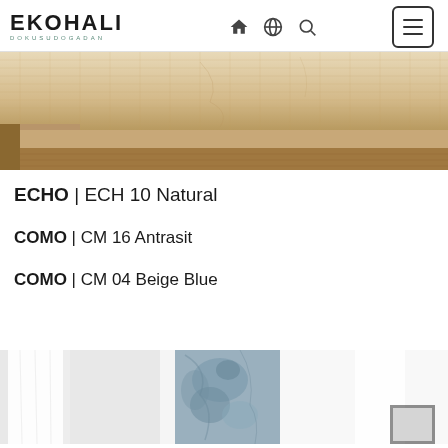EKOHALI — navigation header with home, globe, search icons and hamburger menu
[Figure (photo): Close-up photo of a natural jute/woven rug partially visible, with a wooden furniture leg or frame in the corner. Light beige/tan tones.]
ECHO | ECH 10 Natural
COMO | CM 16 Antrasit
COMO | CM 04 Beige Blue
[Figure (photo): Interior room photo showing a bright white room with sheer white curtains and a patterned blue-grey fabric or curtain in the center background. A framed artwork is partially visible in the bottom right corner.]